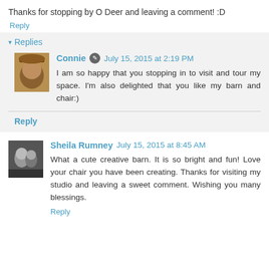Thanks for stopping by O Deer and leaving a comment! :D
Reply
Replies
Connie  July 15, 2015 at 2:19 PM
I am so happy that you stopping in to visit and tour my space. I'm also delighted that you like my barn and chair:)
Reply
Sheila Rumney  July 15, 2015 at 8:45 AM
What a cute creative barn. It is so bright and fun! Love your chair you have been creating. Thanks for visiting my studio and leaving a sweet comment. Wishing you many blessings.
Reply